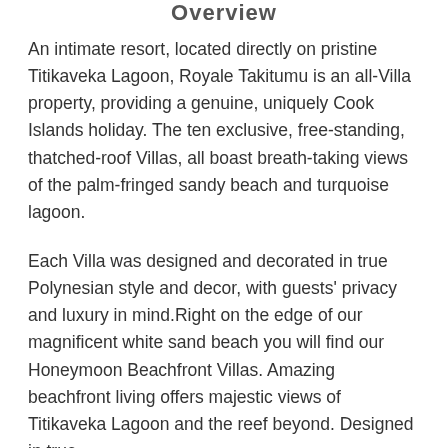Overview
An intimate resort, located directly on pristine Titikaveka Lagoon, Royale Takitumu is an all-Villa property, providing a genuine, uniquely Cook Islands holiday. The ten exclusive, free-standing, thatched-roof Villas, all boast breath-taking views of the palm-fringed sandy beach and turquoise lagoon.
Each Villa was designed and decorated in true Polynesian style and decor, with guests' privacy and luxury in mind.Right on the edge of our magnificent white sand beach you will find our Honeymoon Beachfront Villas. Amazing beachfront living offers majestic views of Titikaveka Lagoon and the reef beyond. Designed in true